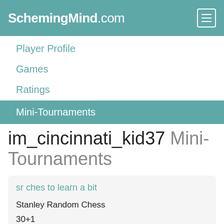SchemingMind.com
Player Profile
Games
Ratings
Mini-Tournaments
im_cincinnati_kid37 Mini-Tournaments
sr ches to learn a bit
Stanley Random Chess
30+1
Single Round Robin with 7 seats
Organised by Henk Miedema